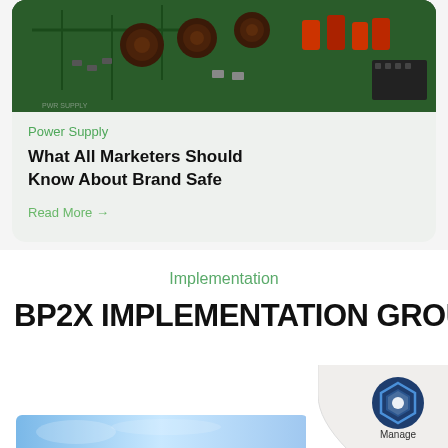[Figure (photo): Close-up photo of a green circuit board / power supply with electronic components including coils and capacitors]
Power Supply
What All Marketers Should Know About Brand Safe
Read More →
Implementation
BP2X IMPLEMENTATION GROU
[Figure (logo): Manage logo — dark blue circle with hexagon icon and 'Manage' text below, with page-curl effect]
[Figure (photo): Partial view of a blue-toned photo at the bottom of the page]